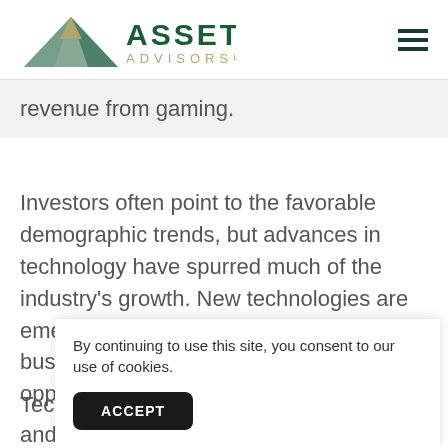Asset Advisors LLC
revenue from gaming.
Investors often point to the favorable demographic trends, but advances in technology have spurred much of the industry's growth. New technologies are emerging that I think will create new business models and investment opportunities.
Technology is often met with skepticism, and its p... c... o...
By continuing to use this site, you consent to our use of cookies.